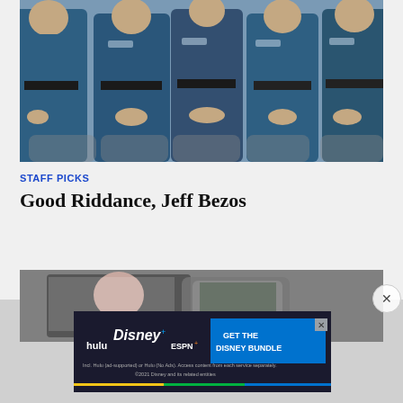[Figure (photo): Group of people in blue flight suits seated in a row, appearing to be astronauts or space tourists]
STAFF PICKS
Good Riddance, Jeff Bezos
[Figure (photo): Woman sitting in a car, viewed from the side, black and white photo]
[Figure (other): Advertisement banner: hulu, Disney+, ESPN+ - GET THE DISNEY BUNDLE. Incl. Hulu (ad-supported) or Hulu (No Ads). Access content from each service separately. ©2021 Disney and its related entities.]